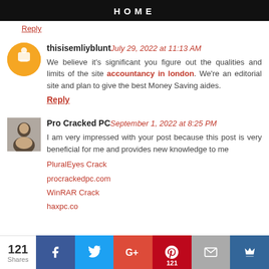HOME
Reply
thisisemliyblunt  July 29, 2022 at 11:13 AM
We believe it's significant you figure out the qualities and limits of the site accountancy in london. We're an editorial site and plan to give the best Money Saving aides.
Reply
Pro Cracked PC  September 1, 2022 at 8:25 PM
I am very impressed with your post because this post is very beneficial for me and provides new knowledge to me
PluralEyes Crack
procrackedpc.com
WinRAR Crack
haxpc.co
121 Shares | Facebook | Twitter | Google+ | Pinterest 121 | Email | Crown